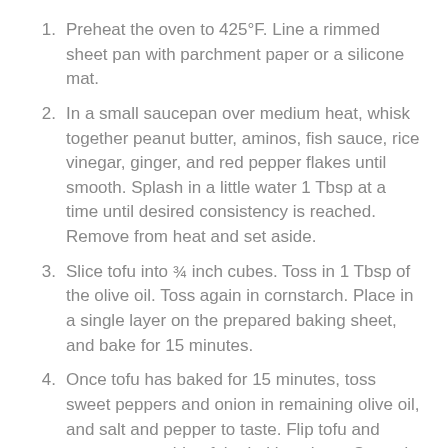Preheat the oven to 425°F. Line a rimmed sheet pan with parchment paper or a silicone mat.
In a small saucepan over medium heat, whisk together peanut butter, aminos, fish sauce, rice vinegar, ginger, and red pepper flakes until smooth. Splash in a little water 1 Tbsp at a time until desired consistency is reached.  Remove from heat and set aside.
Slice tofu into ¾ inch cubes. Toss in 1 Tbsp of the olive oil. Toss again in cornstarch. Place in a single layer on the prepared baking sheet, and bake for 15 minutes.
Once tofu has baked for 15 minutes, toss sweet peppers and onion in remaining olive oil, and salt and pepper to taste. Flip tofu and move to one side of the baking sheet. Spread out peppers